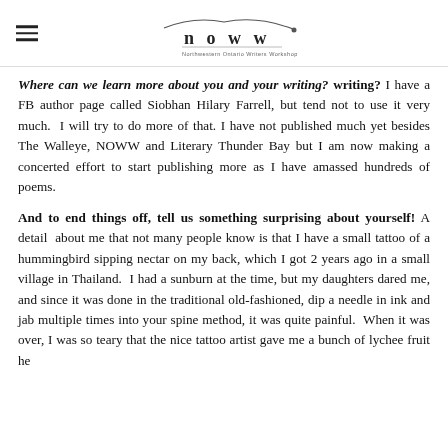NOWW - Northwestern Ontario Writers Workshop logo
Where can we learn more about you and your writing? I have a FB author page called Siobhan Hilary Farrell, but tend not to use it very much. I will try to do more of that. I have not published much yet besides The Walleye, NOWW and Literary Thunder Bay but I am now making a concerted effort to start publishing more as I have amassed hundreds of poems.
And to end things off, tell us something surprising about yourself! A detail about me that not many people know is that I have a small tattoo of a hummingbird sipping nectar on my back, which I got 2 years ago in a small village in Thailand. I had a sunburn at the time, but my daughters dared me, and since it was done in the traditional old-fashioned, dip a needle in ink and jab multiple times into your spine method, it was quite painful. When it was over, I was so teary that the nice tattoo artist gave me a bunch of lychee fruit he